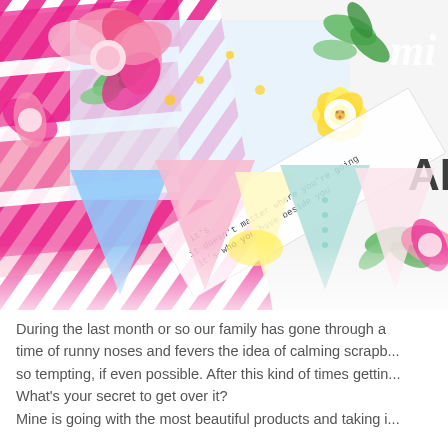[Figure (photo): Close-up photograph of a colorful scrapbook layout featuring pink and yellow flowers, green leaves, pastel pennant banners (blue, pink, yellow, green), striped pink paper, and a white quote strip reading 'it doesn't matter where you're going, it's who you have beside you'. Text elements include white script and 'ADV' letters in dark color on the right side.]
During the last month or so our family has gone through a time of runny noses and fevers the idea of calming scrapb... so tempting, if even possible. After this kind of times gettin... What's your secret to get over it?
Mine is going with the most beautiful products and taking i...